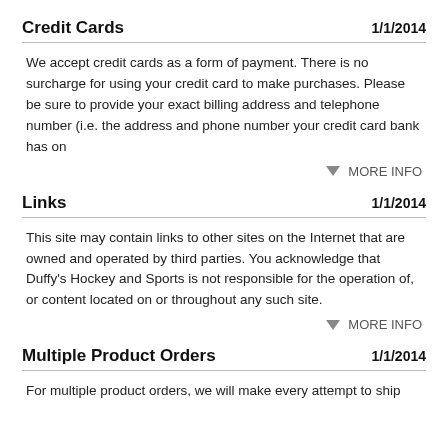Credit Cards    1/1/2014
We accept credit cards as a form of payment. There is no surcharge for using your credit card to make purchases. Please be sure to provide your exact billing address and telephone number (i.e. the address and phone number your credit card bank has on
▼ MORE INFO
Links    1/1/2014
This site may contain links to other sites on the Internet that are owned and operated by third parties. You acknowledge that Duffy's Hockey and Sports is not responsible for the operation of, or content located on or throughout any such site.
▼ MORE INFO
Multiple Product Orders    1/1/2014
For multiple product orders, we will make every attempt to ship